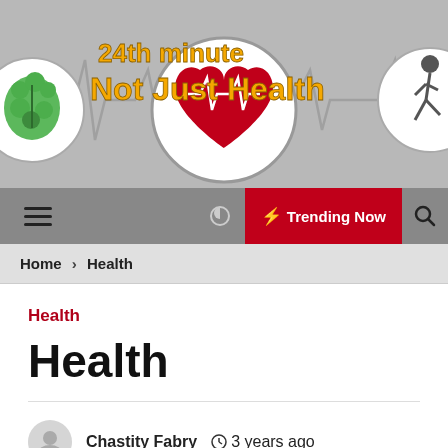[Figure (logo): 24th minute Not Just Health website header banner with logo circles showing a brain, heart with ECG, and running figure on grey background with ECG heartbeat line]
Menu | Trending Now | Search
Home > Health
Health
Health
Chastity Fabry  3 years ago